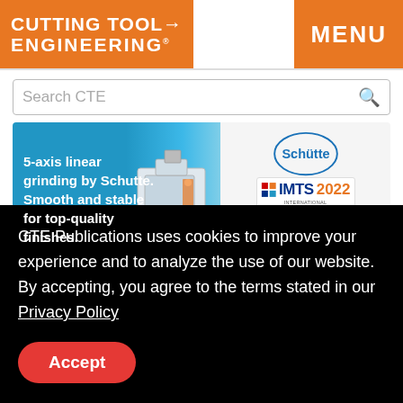CUTTING TOOL ENGINEERING® MENU
Search CTE
[Figure (infographic): Advertisement banner for Schütte 5-axis linear grinding machine. Left blue panel reads: 5-axis linear grinding by Schutte. Smooth and stable for top-quality finishes. Center shows CNC grinding machine photo. Right panel shows Schütte logo, IMTS 2022 badge, and North Hall 237422.]
Carbide Drill
CTE Publications uses cookies to improve your experience and to analyze the use of our website. By accepting, you agree to the terms stated in our Privacy Policy
Accept